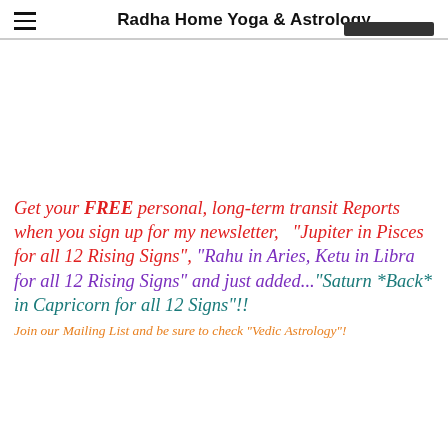Radha Home Yoga & Astrology
Get your FREE personal, long-term transit Reports when you sign up for my newsletter, "Jupiter in Pisces for all 12 Rising Signs", "Rahu in Aries, Ketu in Libra for all 12 Rising Signs" and just added..."Saturn *Back* in Capricorn for all 12 Signs"!!
Join our Mailing List and be sure to check "Vedic Astrology"!